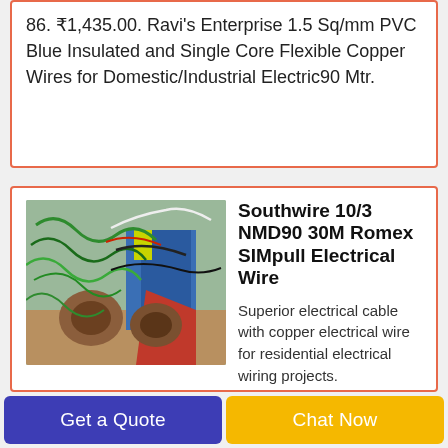86. ₹1,435.00. Ravi's Enterprise 1.5 Sq/mm PVC Blue Insulated and Single Core Flexible Copper Wires for Domestic/Industrial Electric90 Mtr.
[Figure (photo): Photo of electrical wires and cable spools in a workshop setting]
Southwire 10/3 NMD90 30M Romex SIMpull Electrical Wire
Superior electrical cable with copper electrical wire for residential electrical wiring projects. 10 AWG Romex SIMpull NMD90 with Freeze Flex includes 3 copper conductors and one ground wire. Use it for electrical wiring of clothes dryers. Romex SIMpull features
Get a Quote
Chat Now